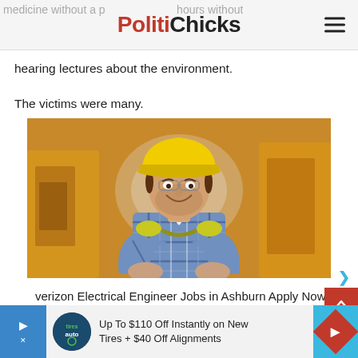PolitiChicks
medicine without a physician hours without hearing lectures about the environment.
The victims were many.
[Figure (photo): A smiling construction worker wearing a yellow hard hat, safety glasses, a plaid flannel shirt, and ear protection around his neck, standing with arms crossed in front of construction equipment.]
verizon Electrical Engineer Jobs in Ashburn Apply Now
jobble.com
[Figure (other): Advertisement banner: Up To $110 Off Instantly on New Tires + $40 Off Alignments, with Tire Auto logo and navigation arrow diamond icon.]